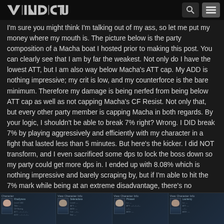VINDICTUS
I'm sure you might think I'm talking out of my ass, so let me put my money where my mouth is. The picture below is the party composition of a Macha boat I hosted prior to making this post. You can clearly see that I am by far the weakest. Not only do I have the lowest ATT, but I am also way below Macha's ATT cap. My ADD is nothing impressive; my crit is low, and my counterforce is the bare minimum. Therefore my damage is being nerfed from being below ATT cap as well as not capping Macha's CF Resist. Not only that, but every other party member is capping Macha in both regards. By your logic, I shouldn't be able to break 7% right? Wrong. I DID break 7% by playing aggressively and efficiently with my character in a fight that lasted less than 5 minutes. But here's the kicker. I did NOT transform, and I even sacrificed some dps to lock the boss down so my party could get more dps in. I ended up with 8.08% which is nothing impressive and barely scraping by, but if I'm able to hit the 7% mark while being at an extreme disadvantage, there's no excuses as to why you can't.
[Figure (screenshot): Four character info panels from the Vindictus game showing party composition with character stats]